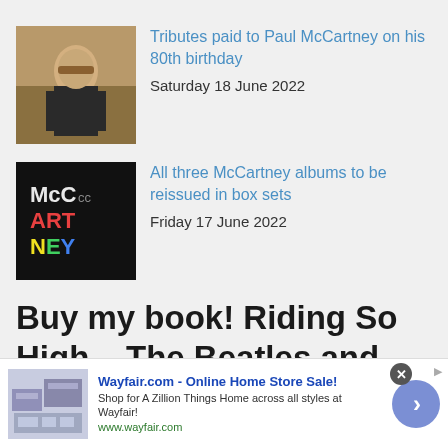[Figure (photo): Thumbnail photo of Paul McCartney seated, wearing dark jacket]
Tributes paid to Paul McCartney on his 80th birthday
Saturday 18 June 2022
[Figure (photo): McCartney album cover with colorful stylized text on black background]
All three McCartney albums to be reissued in box sets
Friday 17 June 2022
Buy my book! Riding So High – The Beatles and Drugs.
[Figure (photo): Wayfair advertisement banner with furniture image]
Wayfair.com - Online Home Store Sale! Shop for A Zillion Things Home across all styles at Wayfair! www.wayfair.com